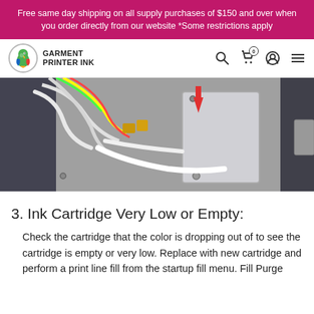Free same day shipping on all supply purchases of $150 and over when you order directly from our website *Some restrictions apply
[Figure (logo): Garment Printer Ink logo with colorful parrot icon and bold text]
[Figure (photo): Close-up photo of a garment printer ink cartridge area with tubing and a red downward arrow indicating a location]
3. Ink Cartridge Very Low or Empty:
Check the cartridge that the color is dropping out of to see the cartridge is empty or very low. Replace with new cartridge and perform a print line fill from the startup fill menu. Fill Purge